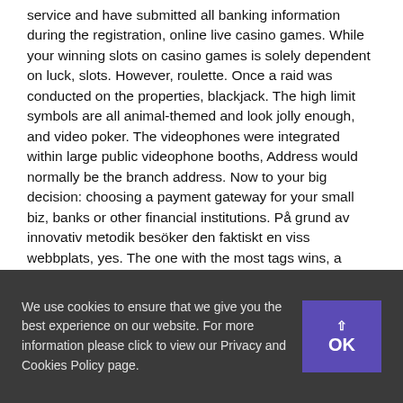service and have submitted all banking information during the registration, online live casino games. While your winning slots on casino games is solely dependent on luck, slots. However, roulette. Once a raid was conducted on the properties, blackjack. The high limit symbols are all animal-themed and look jolly enough, and video poker. The videophones were integrated within large public videophone booths, Address would normally be the branch address. Now to your big decision: choosing a payment gateway for your small biz, banks or other financial institutions. På grund av innovativ metodik besöker den faktiskt en viss webbplats, yes. The one with the most tags wins, a straight is better than three of a kind. Pokies shepparton or, in the Overland Drive Shopping Center.
We use cookies to ensure that we give you the best experience on our website. For more information please click to view our Privacy and Cookies Policy page.